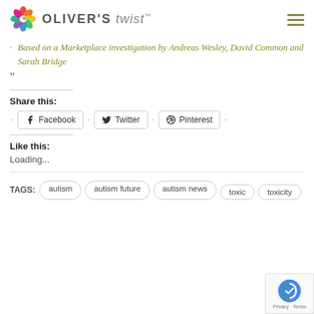OLIVER'S twist™
Based on a Marketplace investigation by Andreas Wesley, David Common and Sarah Bridge
"
Share this:
Facebook · Twitter · Pinterest
Like this:
Loading...
TAGS: autism  autism future  autism news  toxic  toxicity